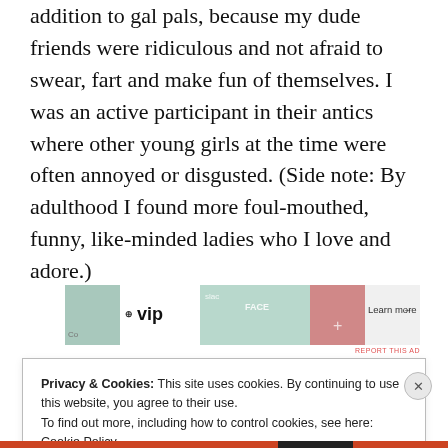addition to gal pals, because my dude friends were ridiculous and not afraid to swear, fart and make fun of themselves. I was an active participant in their antics where other young girls at the time were often annoyed or disgusted. (Side note: By adulthood I found more foul-mouthed, funny, like-minded ladies who I love and adore.)
[Figure (other): WordPress VIP advertisement banner showing logos and colorful overlapping images with 'Learn more' arrow link]
Privacy & Cookies: This site uses cookies. By continuing to use this website, you agree to their use.
To find out more, including how to control cookies, see here: Cookie Policy
Close and accept